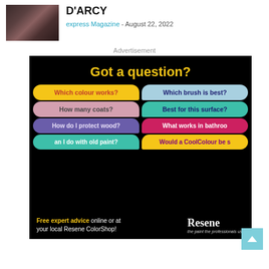[Figure (photo): Two women in a dark fantasy scene, one in dark clothing, one in light dress]
D'ARCY
express Magazine - August 22, 2022
Advertisement
[Figure (infographic): Resene paint advertisement on black background with the headline 'Got a question?' and multiple colorful speech bubbles with questions: 'Which colour works?', 'Which brush is best?', 'How many coats?', 'Best for this surface?', 'How do I protect wood?', 'What works in bathroom', 'an I do with old paint?', 'Would a CoolColour be s'. Footer text: 'Free expert advice online or at your local Resene ColorShop!' with Resene logo and tagline 'the paint the professionals use'.]